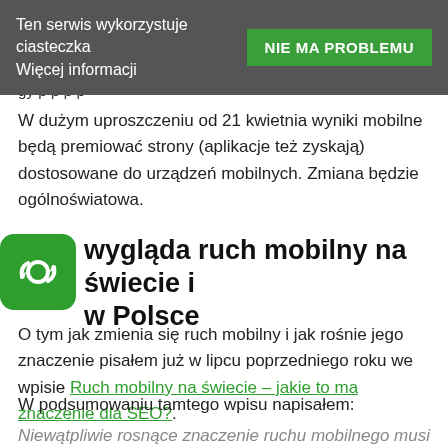Ten serwis wykorzystuje ciasteczka
Więcej informacji | NIE MA PROBLEMU
gy p p p p
W dużym uproszczeniu od 21 kwietnia wyniki mobilne będą premiować strony (aplikacje też zyskają) dostosowane do urządzeń mobilnych. Zmiana będzie ogólnoświatowa.
…wygląda ruch mobilny na świecie i w Polsce
O tym jak zmienia się ruch mobilny i jak rośnie jego znaczenie pisałem już w lipcu poprzedniego roku we wpisie Ruch mobilny na świecie – jakie to ma znaczenie dla SEO?.
W podsumowaniu tamtego wpisu napisałem:
Niewątpliwie rosnące znaczenie ruchu mobilnego musi